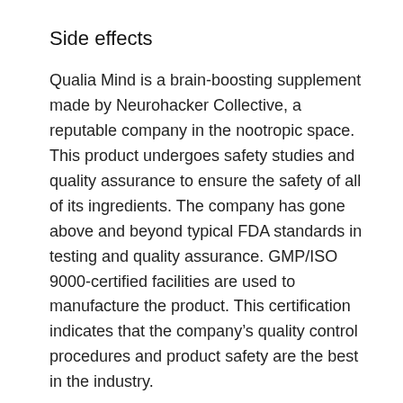Side effects
Qualia Mind is a brain-boosting supplement made by Neurohacker Collective, a reputable company in the nootropic space. This product undergoes safety studies and quality assurance to ensure the safety of all of its ingredients. The company has gone above and beyond typical FDA standards in testing and quality assurance. GMP/ISO 9000-certified facilities are used to manufacture the product. This certification indicates that the company’s quality control procedures and product safety are the best in the industry.
It contains several ingredients, including phospholipid serine, which is naturally found in